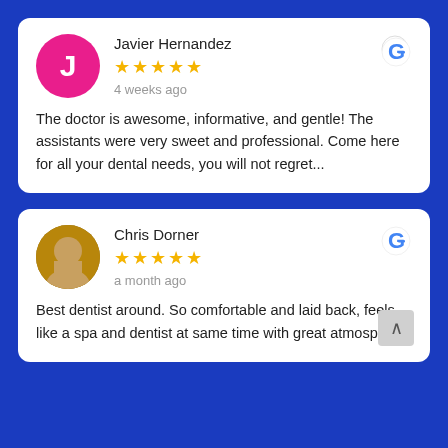Javier Hernandez
★★★★★
4 weeks ago
The doctor is awesome, informative, and gentle! The assistants were very sweet and professional. Come here for all your dental needs, you will not regret...
Chris Dorner
★★★★★
a month ago
Best dentist around. So comfortable and laid back, feels like a spa and dentist at same time with great atmosphere.